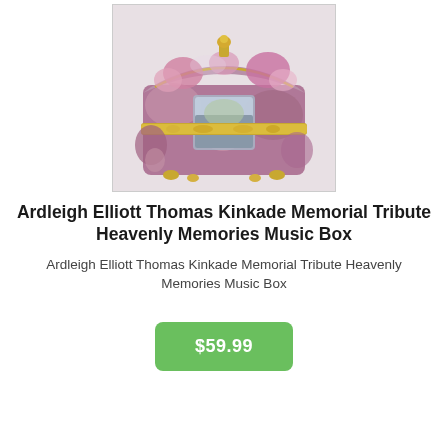[Figure (photo): A decorative porcelain music box with floral designs and gold trim, shown from an angle with the lid slightly visible on top.]
Ardleigh Elliott Thomas Kinkade Memorial Tribute Heavenly Memories Music Box
Ardleigh Elliott Thomas Kinkade Memorial Tribute Heavenly Memories Music Box
$59.99